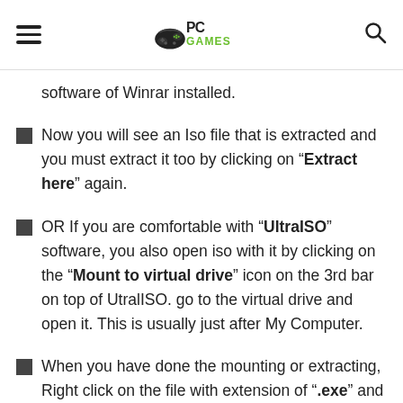[Navigation bar with hamburger menu, PC Games logo, and search icon]
software of Winrar installed.
Now you will see an Iso file that is extracted and you must extract it too by clicking on “Extract here” again.
OR If you are comfortable with “UltraISO” software, you also open iso with it by clicking on the “Mount to virtual drive” icon on the 3rd bar on top of UtralISO. go to the virtual drive and open it. This is usually just after My Computer.
When you have done the mounting or extracting, Right click on the file with extension of “.exe” and click on “Run